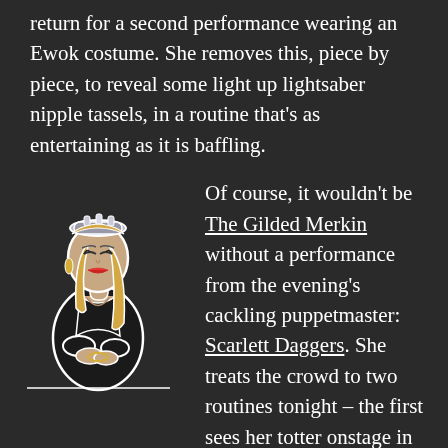return for a second performance wearing an Ewok costume. She removes this, piece by piece, to reveal some light up lightsaber nipple tassels, in a routine that's as entertaining as it is baffling.
[Figure (illustration): Illustrated figure of a glamorous woman in a black outfit with blonde hair and a decorative headpiece, drawn in a stylized cartoon/sticker style with a white outline on dark background.]
Of course, it wouldn't be The Gilded Merkin without a performance from the evening's cackling puppetmaster: Scarlett Daggers. She treats the crowd to two routines tonight – the first sees her totter onstage in an oversized gift box; Daggers dismantles the costume panel by panel until she's stood on stage in nothing but a pair of diamante nipple pasties and matching C-string. Long suffering stage manager Mimi Libertine, the woman who keeps the show running like a well oiled machine, quickly